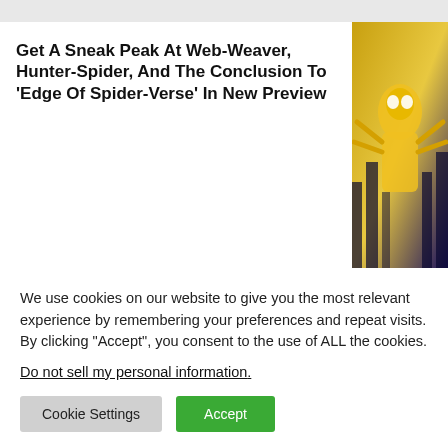Get A Sneak Peak At Web-Weaver, Hunter-Spider, And The Conclusion To 'Edge Of Spider-Verse' In New Preview
[Figure (illustration): Comic book artwork showing a yellow and black Spider character against a city background]
New Variant Covers Show Off Artwork From 'Marvel Duel'
[Figure (illustration): Comic book artwork showing Storm character with lightning effects and purple background]
We use cookies on our website to give you the most relevant experience by remembering your preferences and repeat visits. By clicking “Accept”, you consent to the use of ALL the cookies.
Do not sell my personal information.